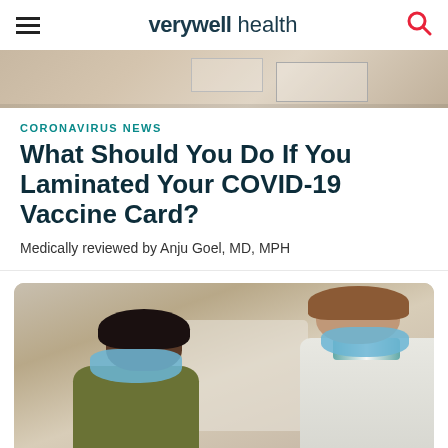verywell health
[Figure (photo): Top edge of a photo showing hands holding a document with grid lines]
CORONAVIRUS NEWS
What Should You Do If You Laminated Your COVID-19 Vaccine Card?
Medically reviewed by Anju Goel, MD, MPH
[Figure (photo): Two people wearing blue face masks — a patient on the left and a doctor/healthcare provider in a white coat on the right — appearing to be at a medical appointment]
Ad